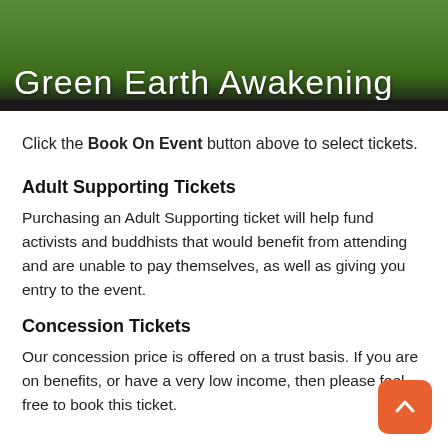[Figure (photo): Banner image with grassy outdoor scene and text 'Green Earth Awakening' overlaid in white]
Click the Book On Event button above to select tickets.
Adult Supporting Tickets
Purchasing an Adult Supporting ticket will help fund activists and buddhists that would benefit from attending and are unable to pay themselves, as well as giving you entry to the event.
Concession Tickets
Our concession price is offered on a trust basis. If you are on benefits, or have a very low income, then please feel free to book this ticket.